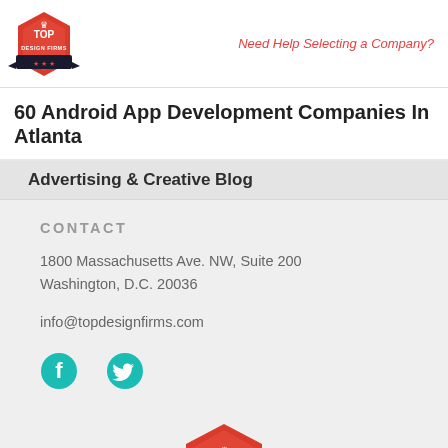[Figure (logo): Top Design Firms logo - red hexagon badge with crown icon and 'TOP DESIGN FIRMS' text]
Need Help Selecting a Company?
60 Android App Development Companies In Atlanta
Advertising & Creative Blog
CONTACT
1800 Massachusetts Ave. NW, Suite 200
Washington, D.C. 20036
info@topdesignfirms.com
[Figure (logo): Facebook and Twitter social media icons in teal/cyan color]
[Figure (logo): Top Design Firms logo bottom - partial red hexagon badge visible at bottom of page]